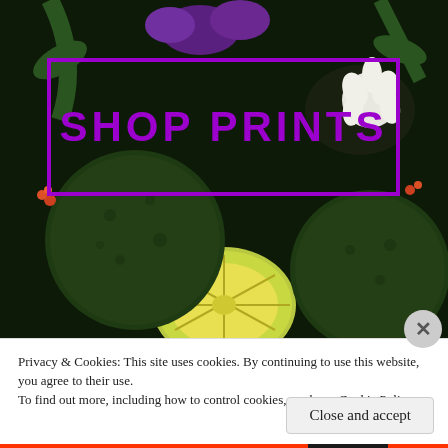[Figure (photo): Dark botanical photograph showing green bergamot/lime fruits with purple flowers and green leaves. Overlaid with a purple rectangle border containing the text 'SHOP PRINTS' in large purple letters.]
Privacy & Cookies: This site uses cookies. By continuing to use this website, you agree to their use.
To find out more, including how to control cookies, see here: Cookie Policy
Close and accept